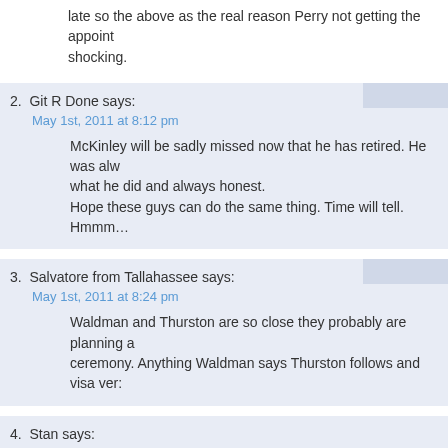late so the above as the real reason Perry not getting the appoint... shocking.
2. Git R Done says:
May 1st, 2011 at 8:12 pm
McKinley will be sadly missed now that he has retired. He was al... what he did and always honest.
Hope these guys can do the same thing. Time will tell. Hmmm…
3. Salvatore from Tallahassee says:
May 1st, 2011 at 8:24 pm
Waldman and Thurston are so close they probably are planning a ceremony. Anything Waldman says Thurston follows and visa vers...
4. Stan says:
May 2nd, 2011 at 10:09 am
Given that Thurston's district is a minority/majority district and mu... preserved, I really don't think there is a lot they can do.